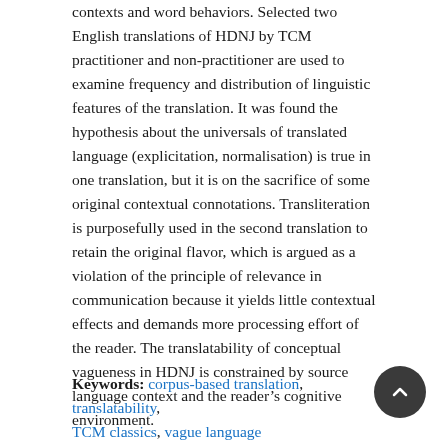contexts and word behaviors. Selected two English translations of HDNJ by TCM practitioner and non-practitioner are used to examine frequency and distribution of linguistic features of the translation. It was found the hypothesis about the universals of translated language (explicitation, normalisation) is true in one translation, but it is on the sacrifice of some original contextual connotations. Transliteration is purposefully used in the second translation to retain the original flavor, which is argued as a violation of the principle of relevance in communication because it yields little contextual effects and demands more processing effort of the reader. The translatability of conceptual vagueness in HDNJ is constrained by source language context and the reader's cognitive environment.
Keywords: corpus-based translation, translatability, TCM classics, vague language